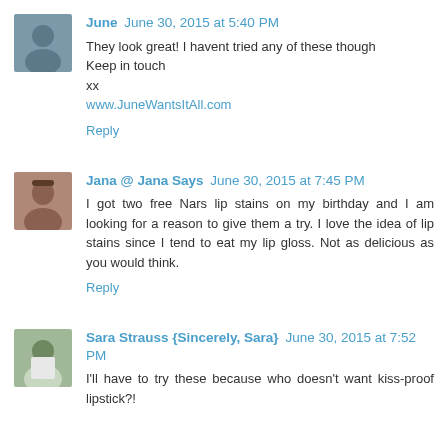[Figure (photo): Avatar photo of June]
June  June 30, 2015 at 5:40 PM
They look great! I havent tried any of these though
Keep in touch
xx
www.JuneWantsItAll.com
Reply
[Figure (photo): Avatar photo of Jana]
Jana @ Jana Says  June 30, 2015 at 7:45 PM
I got two free Nars lip stains on my birthday and I am looking for a reason to give them a try. I love the idea of lip stains since I tend to eat my lip gloss. Not as delicious as you would think.
Reply
[Figure (photo): Avatar photo of Sara Strauss]
Sara Strauss {Sincerely, Sara}  June 30, 2015 at 7:52 PM
I'll have to try these because who doesn't want kiss-proof lipstick?!